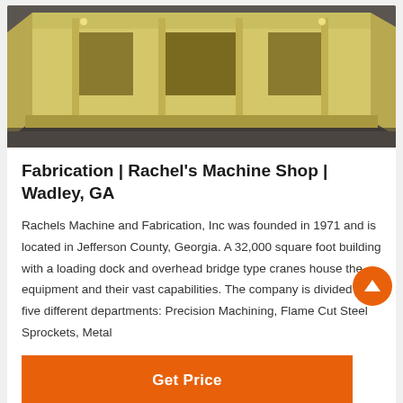[Figure (photo): Yellow fabricated metal machine part or housing on a shop floor, viewed from the front, showing structural steel fabrication work.]
Fabrication | Rachel's Machine Shop | Wadley, GA
Rachels Machine and Fabrication, Inc was founded in 1971 and is located in Jefferson County, Georgia. A 32,000 square foot building with a loading dock and overhead bridge type cranes house the equipment and their vast capabilities. The company is divided into five different departments: Precision Machining, Flame Cut Steel Sprockets, Metal
Get Price
[Figure (photo): Partial view of a second photo at the bottom of the page.]